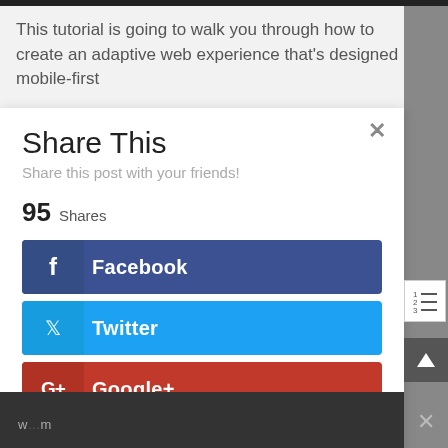This tutorial is going to walk you through how to create an adaptive web experience that's designed mobile-first
Share This
Share this post with your friends!
95 Shares
Facebook
Twitter
Google+
Pinterest